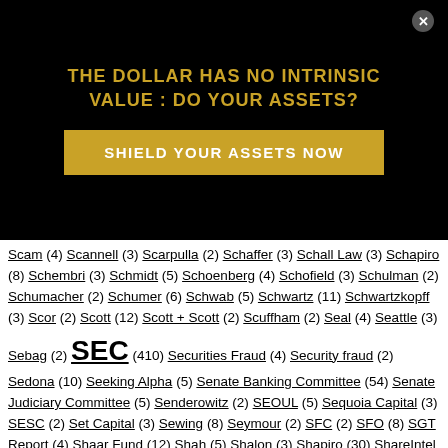[Figure (other): Promotional overlay banner on black background with gold title 'THE DOLLAR HAS NO INTRINSIC VALUE : DO YOUR ASSETS?' and a gold call-to-action button 'SHIELD YOUR ASSETS NOW' with a close button X]
Scam (4) Scannell (3) Scarpulla (2) Schaffer (3) Schall Law (3) Schapiro (8) Schembri (3) Schmidt (5) Schoenberg (4) Schofield (3) Schulman (2) Schumacher (2) Schumer (6) Schwab (5) Schwartz (11) Schwartzkopff (3) Scor (2) Scott (12) Scott + Scott (2) Scuffham (2) Seal (4) Seattle (3) Sebag (2) SEC (410) Securities Fraud (4) Security fraud (2) Sedona (10) Seeking Alpha (5) Senate Banking Committee (54) Senate Judiciary Committee (5) Senderowitz (2) SEOUL (5) Sequoia Capital (3) SESC (2) Set Capital (3) Sewing (8) Seymour (2) SFC (2) SFO (8) SGT Report (4) Shaar Fund (12) Shah (5) Shalon (3) Shapiro (30) ShareIntel (7) Sharp (3) Shaw (5) Shea (2) Shearson Lehman (4) Shecter (2) Shelby (10) Shell (2) Sherman (7) Shkreli (2) Shmalo (2) Shopify (12) short seller (19) Shubber (2) SIFMA (3) Silver (2)